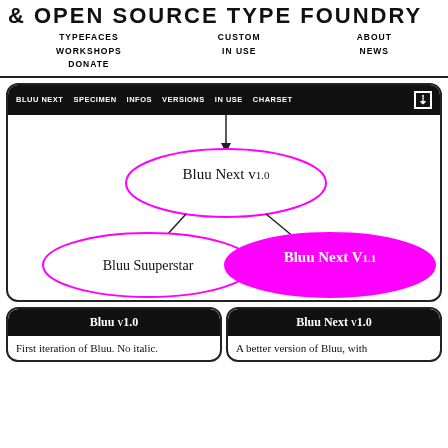& OPEN SOURCE TYPE FOUNDRY
TYPEFACES  WORKSHOPS  DONATE  CUSTOM  IN USE  ABOUT  NEWS
[Figure (flowchart): Flowchart showing font versioning: Bluu Next v1.0 at top, branching down to Bluu Suuperstar (outlined ellipse) and Bluu Next V1.1 (filled magenta ellipse). Navigation bar above with: BLUU NEXT, SPECIMEN, INFOS, VERSIONS, IN USE, CHARSET, download icon.]
Bluu v1.0
Bluu Next v1.0
First iteration of Bluu. No italic.
A better version of Bluu, with